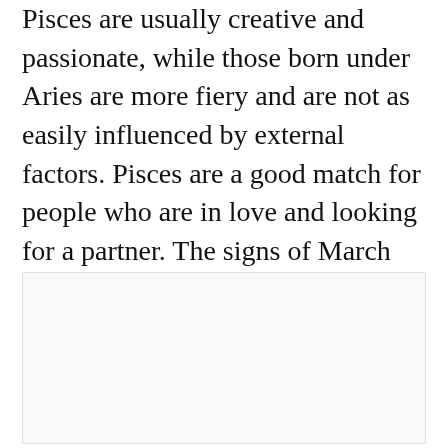Pisces are usually creative and passionate, while those born under Aries are more fiery and are not as easily influenced by external factors. Pisces are a good match for people who are in love and looking for a partner. The signs of March are a great combination of qualities. They are good partners for marriage, but they need a partner who can support them emotionally.
ADVERTISEMENT